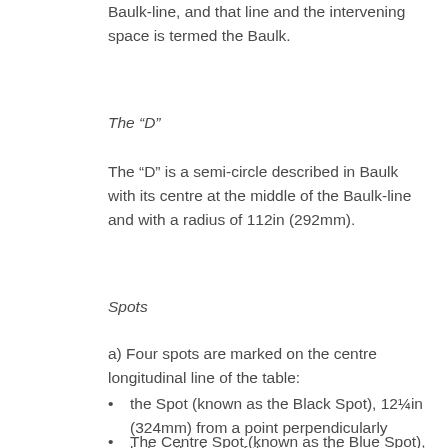Baulk-line, and that line and the intervening space is termed the Baulk.
The “D”
The “D” is a semi-circle described in Baulk with its centre at the middle of the Baulk-line and with a radius of 112in (292mm).
Spots
a) Four spots are marked on the centre longitudinal line of the table:
the Spot (known as the Black Spot), 12¼in (324mm) from a point perpendicularly below the face of the top cushion.
The Centre Spot (known as the Blue Spot), located